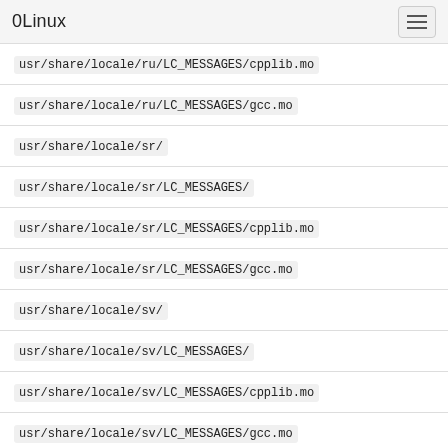0Linux
usr/share/locale/ru/LC_MESSAGES/cpplib.mo
usr/share/locale/ru/LC_MESSAGES/gcc.mo
usr/share/locale/sr/
usr/share/locale/sr/LC_MESSAGES/
usr/share/locale/sr/LC_MESSAGES/cpplib.mo
usr/share/locale/sr/LC_MESSAGES/gcc.mo
usr/share/locale/sv/
usr/share/locale/sv/LC_MESSAGES/
usr/share/locale/sv/LC_MESSAGES/cpplib.mo
usr/share/locale/sv/LC_MESSAGES/gcc.mo